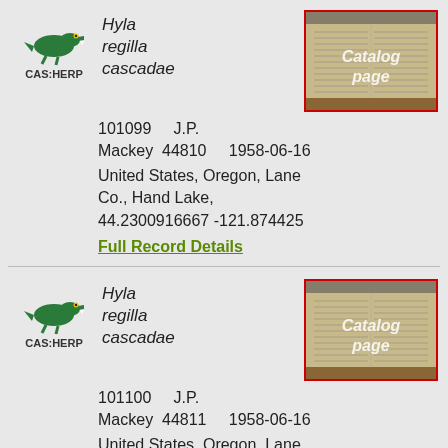[Figure (other): CAS:HERP crocodile logo with label CAS:HERP]
Hyla regilla cascadae
[Figure (screenshot): Thumbnail of catalog page with watermark text 'Catalog page']
101099    J.P. Mackey   44810      1958-06-16
United States, Oregon, Lane Co., Hand Lake, 44.2300916667 -121.874425
Full Record Details
[Figure (other): CAS:HERP crocodile logo with label CAS:HERP]
Hyla regilla cascadae
[Figure (screenshot): Thumbnail of catalog page with watermark text 'Catalog page']
101100    J.P. Mackey   44811      1958-06-16
United States, Oregon, Lane Co., Hand Lake, 44.2300916667 -121.874425
Full Record Details